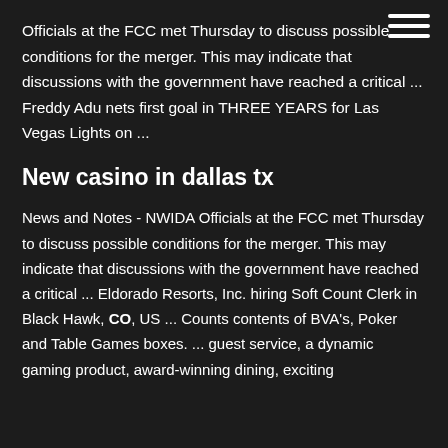[Figure (other): Hamburger menu icon (three horizontal white lines) in top-right corner]
Officials at the FCC met Thursday to discuss possible conditions for the merger. This may indicate that discussions with the government have reached a critical ... Freddy Adu nets first goal in THREE YEARS for Las Vegas Lights on ...
New casino in dallas tx
News and Notes - NWIDA Officials at the FCC met Thursday to discuss possible conditions for the merger. This may indicate that discussions with the government have reached a critical ... Eldorado Resorts, Inc. hiring Soft Count Clerk in Black Hawk, CO, US ... Counts contents of BVA's, Poker and Table Games boxes. ... guest service, a dynamic gaming product, award-winning dining, exciting